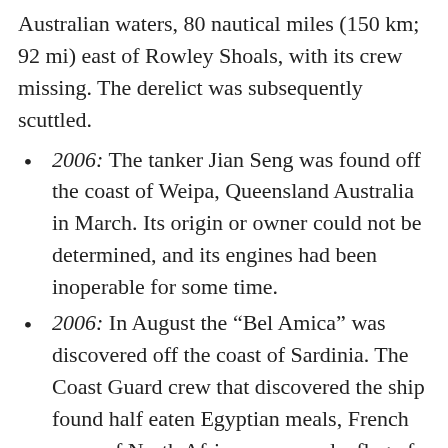Australian waters, 80 nautical miles (150 km; 92 mi) east of Rowley Shoals, with its crew missing. The derelict was subsequently scuttled.
2006: The tanker Jian Seng was found off the coast of Weipa, Queensland Australia in March. Its origin or owner could not be determined, and its engines had been inoperable for some time.
2006: In August the “Bel Amica” was discovered off the coast of Sardinia. The Coast Guard crew that discovered the ship found half eaten Egyptian meals, French maps of North African seas, and a flag of Luxembourg on board.
2007: A 12-metre catamaran, the Kaz II, was